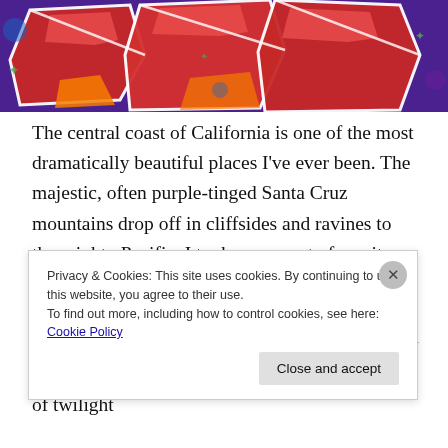[Figure (photo): Colorful graffiti art with red, purple, blue, and orange tones forming large stylized letters or shapes on a wall]
The central coast of California is one of the most dramatically beautiful places I’ve ever been. The majestic, often purple-tinged Santa Cruz mountains drop off in cliffsides and ravines to the mighty Pacific. I took a moment of respite and reverie from painting this Spring, so that I could focus again on photography and capturing some of the pastel-painted vistas that take the sky over Westcliff nearly every night. A small series of twilight
Privacy & Cookies: This site uses cookies. By continuing to use this website, you agree to their use.
To find out more, including how to control cookies, see here: Cookie Policy